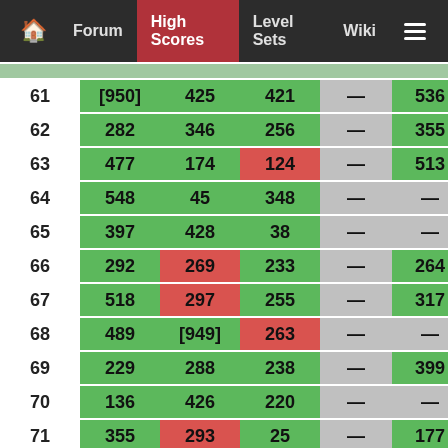Home | Forum | High Scores | Level Sets | Wiki | Menu
| # | Col1 | Col2 | Col3 | Col4 | Col5 |
| --- | --- | --- | --- | --- | --- |
| 61 | [950] | 425 | 421 | — | 536 |
| 62 | 282 | 346 | 256 | — | 355 |
| 63 | 477 | 174 | 124 | — | 513 |
| 64 | 548 | 45 | 348 | — | — |
| 65 | 397 | 428 | 38 | — | — |
| 66 | 292 | 269 | 233 | — | 264 |
| 67 | 518 | 297 | 255 | — | 317 |
| 68 | 489 | [949] | 263 | — | — |
| 69 | 229 | 288 | 238 | — | 399 |
| 70 | 136 | 426 | 220 | — | — |
| 71 | 355 | 293 | 25 | — | 177 |